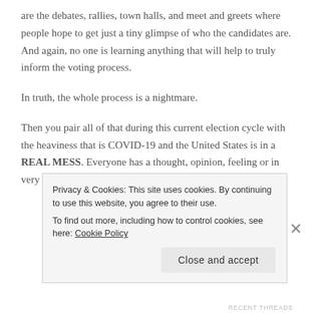are the debates, rallies, town halls, and meet and greets where people hope to get just a tiny glimpse of who the candidates are. And again, no one is learning anything that will help to truly inform the voting process.
In truth, the whole process is a nightmare.
Then you pair all of that during this current election cycle with the heaviness that is COVID-19 and the United States is in a REAL MESS. Everyone has a thought, opinion, feeling or in very few cases actual
Privacy & Cookies: This site uses cookies. By continuing to use this website, you agree to their use.
To find out more, including how to control cookies, see here: Cookie Policy
Close and accept
RECENT THREADS